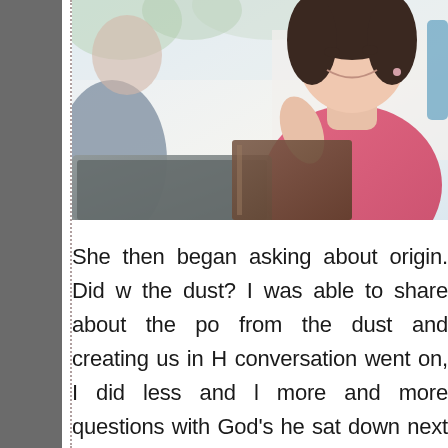[Figure (photo): A woman in a pink shirt smiling, photographed from below, with blurred foreground showing a dark laptop/book surface and a light background with greenery.]
She then began asking about origin. Did w the dust? I was able to share about the po from the dust and creating us in H conversation went on, I did less and l more and more questions with God's he sat down next requesting the same desig curious and quiet way, "What would yo